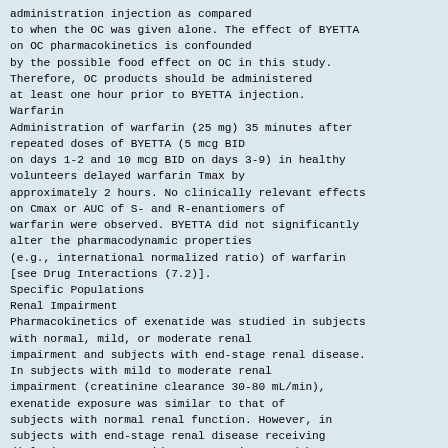administration injection as compared
to when the OC was given alone. The effect of BYETTA
on OC pharmacokinetics is confounded
by the possible food effect on OC in this study.
Therefore, OC products should be administered
at least one hour prior to BYETTA injection.
Warfarin
Administration of warfarin (25 mg) 35 minutes after
repeated doses of BYETTA (5 mcg BID
on days 1-2 and 10 mcg BID on days 3-9) in healthy
volunteers delayed warfarin Tmax by
approximately 2 hours. No clinically relevant effects
on Cmax or AUC of S- and R-enantiomers of
warfarin were observed. BYETTA did not significantly
alter the pharmacodynamic properties
(e.g., international normalized ratio) of warfarin
[see Drug Interactions (7.2)].
Specific Populations
Renal Impairment
Pharmacokinetics of exenatide was studied in subjects
with normal, mild, or moderate renal
impairment and subjects with end-stage renal disease.
In subjects with mild to moderate renal
impairment (creatinine clearance 30-80 mL/min),
exenatide exposure was similar to that of
subjects with normal renal function. However, in
subjects with end-stage renal disease receiving
dialysis, mean exenatide exposure increased by 3.37-
fold compared to that of subjects with
normal renal function [see Use in Specific
Populations (8.6)].
Hepatic Impairment
No pharmacokinetic study has been performed in